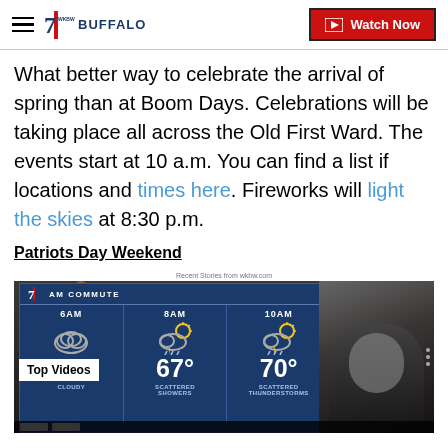7 WKBW BUFFALO — Watch Now
What better way to celebrate the arrival of spring than at Boom Days. Celebrations will be taking place all across the Old First Ward. The events start at 10 a.m. You can find a list if locations and times here. Fireworks will light the skies at 8:30 p.m.
Patriots Day Weekend
Recent Stories from wkbw.com
[Figure (screenshot): Weather broadcast screenshot showing AM Commute forecast with 6AM 67° Cloudy, 8AM 67° Scattered Showers, 10AM 70° Scattered Thunderstorms, with a newscaster on the right. Top Videos badge visible.]